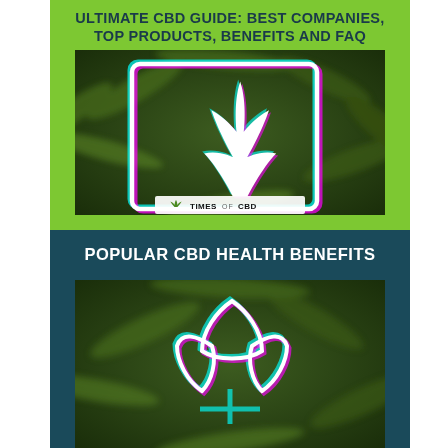ULTIMATE CBD GUIDE: BEST COMPANIES, TOP PRODUCTS, BENEFITS AND FAQ
[Figure (illustration): Cannabis leaf graphic with cyan/magenta chromatic aberration effect inside a white outlined square frame, on a blurred cannabis plant background. TimesOfCBD logo at bottom.]
POPULAR CBD HEALTH BENEFITS
[Figure (illustration): Abstract lotus/leaf wellness icon with cyan/magenta chromatic aberration effect on a blurred cannabis plant dark background.]